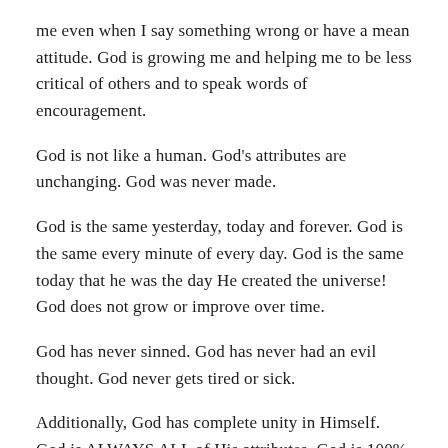me even when I say something wrong or have a mean attitude. God is growing me and helping me to be less critical of others and to speak words of encouragement.
God is not like a human. God's attributes are unchanging. God was never made.
God is the same yesterday, today and forever. God is the same every minute of every day. God is the same today that he was the day He created the universe! God does not grow or improve over time.
God has never sinned. God has never had an evil thought. God never gets tired or sick.
Additionally, God has complete unity in Himself. God is ALWAYS ALL of His attributes. God is 100% loving, 100% holy,